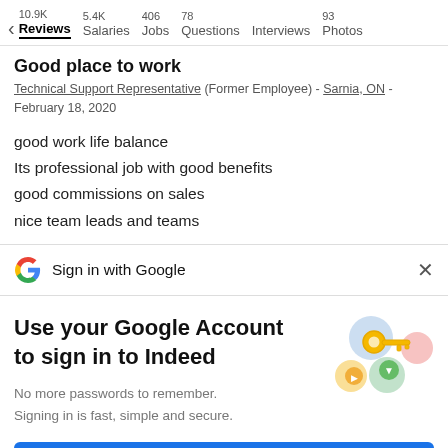< 10.9K Reviews | 5.4K Salaries | 406 Jobs | 78 Questions | Interviews | 93 Photos
Good place to work
Technical Support Representative (Former Employee) - Sarnia, ON - February 18, 2020
good work life balance
Its professional job with good benefits
good commissions on sales
nice team leads and teams
Sign in with Google
Use your Google Account to sign in to Indeed
No more passwords to remember.
Signing in is fast, simple and secure.
[Figure (illustration): Google account key illustration with colorful circles and a golden key]
Continue